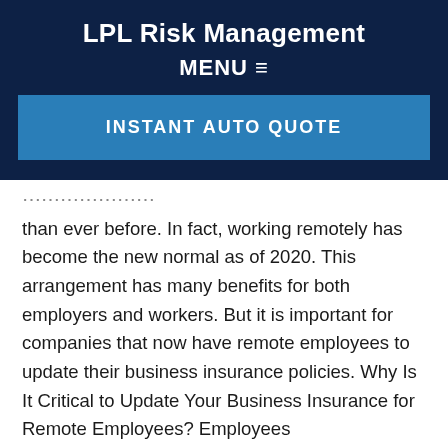LPL Risk Management
MENU ≡
INSTANT AUTO QUOTE
than ever before. In fact, working remotely has become the new normal as of 2020. This arrangement has many benefits for both employers and workers. But it is important for companies that now have remote employees to update their business insurance policies. Why Is It Critical to Update Your Business Insurance for Remote Employees? Employees